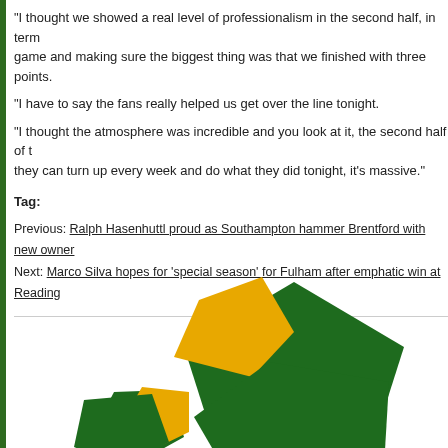“I thought we showed a real level of professionalism in the second half, in terms of managing the game and making sure the biggest thing was that we finished with three points.
“I have to say the fans really helped us get over the line tonight.
“I thought the atmosphere was incredible and you look at it, the second half of the season, if they can turn up every week and do what they did tonight, it’s massive.”
Tag:
Previous: Ralph Hasenhuttl proud as Southampton hammer Brentford with new owner
Next: Marco Silva hopes for ‘special season’ for Fulham after emphatic win at Reading
[Figure (logo): Two overlapping green pentagons with a yellow/orange pentagon, and below a smaller green pentagon with yellow pentagon partially behind it — stylized logo made of pentagon shapes in dark green and gold/yellow colors.]